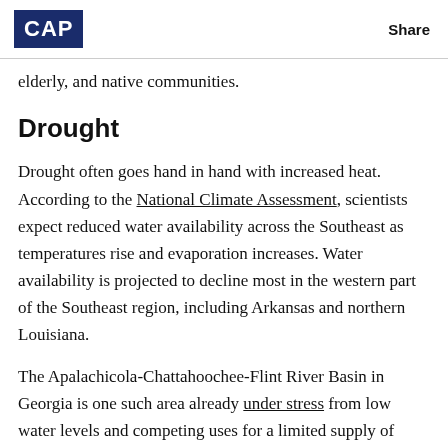CAP   Share
elderly, and native communities.
Drought
Drought often goes hand in hand with increased heat. According to the National Climate Assessment, scientists expect reduced water availability across the Southeast as temperatures rise and evaporation increases. Water availability is projected to decline most in the western part of the Southeast region, including Arkansas and northern Louisiana.
The Apalachicola-Chattahoochee-Flint River Basin in Georgia is one such area already under stress from low water levels and competing uses for a limited supply of water. The basin crosses into Alabama and Florida and